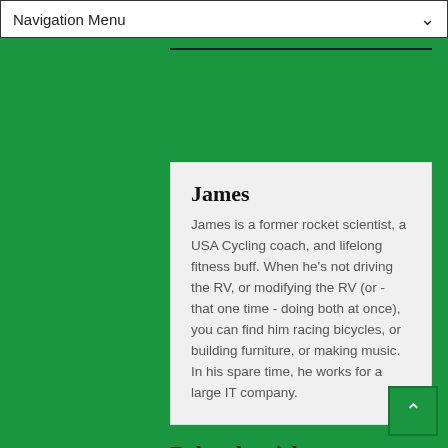Navigation Menu
« Another Thanksgiving 5k in the Bag...
Four States, Four Bikes, and One Yellow Travato – Chapter Four »
James
James is a former rocket scientist, a USA Cycling coach, and lifelong fitness buff. When he's not driving the RV, or modifying the RV (or - that one time - doing both at once), you can find him racing bicycles, or building furniture, or making music. In his spare time, he works for a large IT company.
Related articles